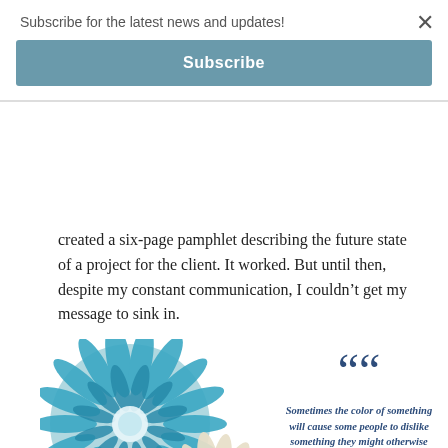Subscribe for the latest news and updates!
Subscribe
created a six-page pamphlet describing the future state of a project for the client. It worked. But until then, despite my constant communication, I couldn’t get my message to sink in.
[Figure (photo): Two chrysanthemum flowers side by side — one teal/blue and one cream/white — overlapping diagonally]
“Sometimes the color of something will cause some people to dislike something they might otherwise enjoy, solely because they do not like its color.”
To help clients envision their window coverings better,